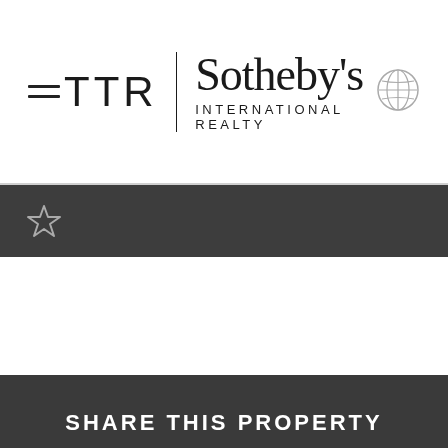TTR | Sotheby's International Realty
[Figure (logo): TTR Sotheby's International Realty logo with menu hamburger icon on the left and globe icon on the right]
☆
SHARE THIS PROPERTY